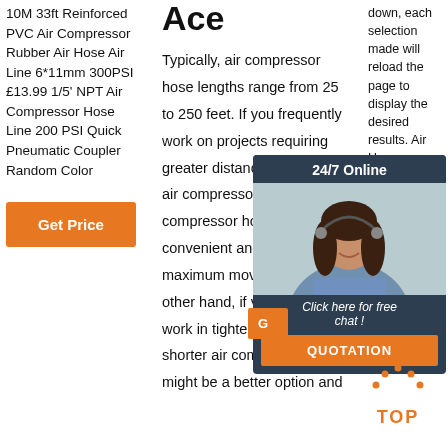10M 33ft Reinforced PVC Air Compressor Rubber Air Hose Air Line 6*11mm 300PSI £13.99 1/5' NPT Air Compressor Hose Line 200 PSI Quick Pneumatic Coupler Random Color
Get Price
Ace
Typically, air compressor hose lengths range from 25 to 250 feet. If you frequently work on projects requiring greater distances from your air compressor, a longer compressor hose is convenient and allows maximum movability. On the other hand, if you regularly work in tighter quarters, a shorter air compressor hose might be a better option and
down, each selection made will reload the page to display the desired results. Air Hos... Ree... (20) (3) H...
[Figure (photo): Customer service representative woman wearing headset, with 24/7 Online support widget, Get Price button, Click here for free chat text, and QUOTATION button on dark navy background]
[Figure (other): Orange dotted arrow pointing up with TOP text label below in orange]